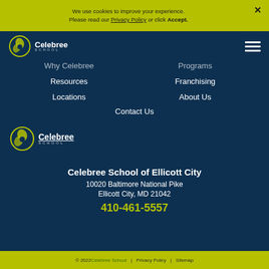We use cookies to improve your experience. Please read our Privacy Policy or click Accept.
Celebree School
Why Celebree
Programs
Resources
Franchising
Locations
About Us
Contact Us
[Figure (logo): Celebree School logo — circular leaf/sun icon with text 'Celebree SCHOOL' in white]
Celebree School of Ellicott City
10020 Baltimore National Pike
Ellicott City, MD 21042
410-461-5557
© 2022 Celebree School | Privacy Policy | Sitemap